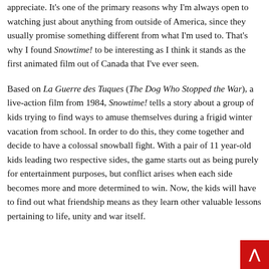appreciate. It's one of the primary reasons why I'm always open to watching just about anything from outside of America, since they usually promise something different from what I'm used to. That's why I found Snowtime! to be interesting as I think it stands as the first animated film out of Canada that I've ever seen.
Based on La Guerre des Tuques (The Dog Who Stopped the War), a live-action film from 1984, Snowtime! tells a story about a group of kids trying to find ways to amuse themselves during a frigid winter vacation from school. In order to do this, they come together and decide to have a colossal snowball fight. With a pair of 11 year-old kids leading two respective sides, the game starts out as being purely for entertainment purposes, but conflict arises when each side becomes more and more determined to win. Now, the kids will have to find out what friendship means as they learn other valuable lessons pertaining to life, unity and war itself.